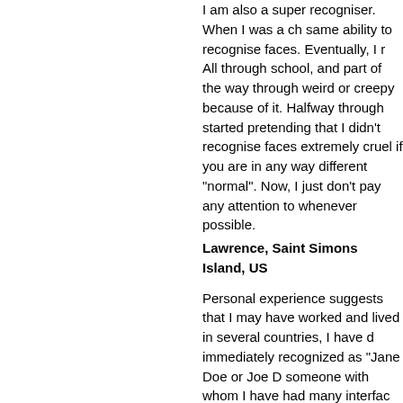I am also a super recogniser. When I was a ch same ability to recognise faces. Eventually, I r All through school, and part of the way through weird or creepy because of it. Halfway through started pretending that I didn't recognise faces extremely cruel if you are in any way different "normal". Now, I just don't pay any attention to whenever possible.
Lawrence, Saint Simons Island, US
Personal experience suggests that I may have worked and lived in several countries, I have d immediately recognized as "Jane Doe or Joe D someone with whom I have had many interfac concluded that there must be only so many di permutations of the way a face can be put tog experience seems to be biased in favor of "rec may be a hormonal stimulant somehow involv
Richard E Hartman, Bandung, West Java
I am not gifted with this skill, but my husband never forgets a face. He is a musician and will show and say to them "You were at our show a This conversation will take place two years lat Kentucky. It is really odd. I always wished that career of it.